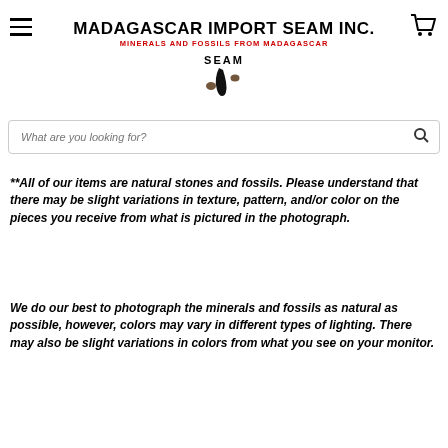[Figure (logo): Madagascar Import SEAM Inc. logo with hamburger menu and cart icon]
What are you looking for?
**All of our items are natural stones and fossils. Please understand that there may be slight variations in texture, pattern, and/or color on the pieces you receive from what is pictured in the photograph.
We do our best to photograph the minerals and fossils as natural as possible, however, colors may vary in different types of lighting. There may also be slight variations in colors from what you see on your monitor.